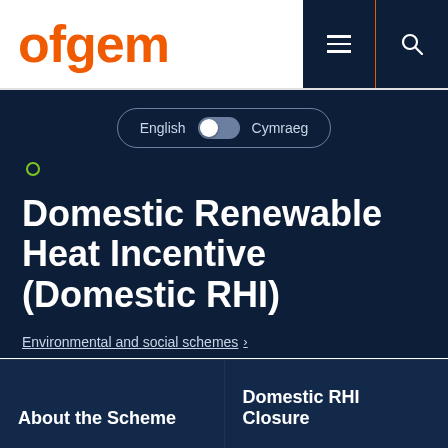[Figure (logo): Ofgem logo in orange text on white background]
English  Cymraeg
Domestic Renewable Heat Incentive (Domestic RHI)
Environmental and social schemes >
About the Scheme
Domestic RHI Closure